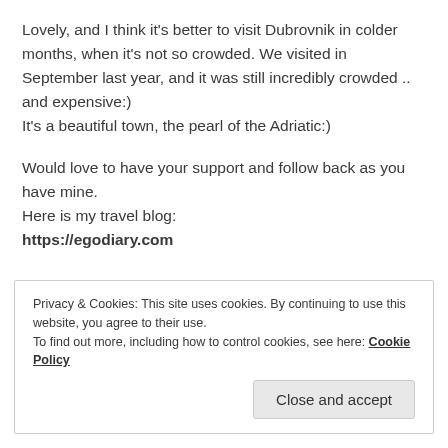Lovely, and I think it's better to visit Dubrovnik in colder months, when it's not so crowded. We visited in September last year, and it was still incredibly crowded .. and expensive:)
It's a beautiful town, the pearl of the Adriatic:)
Would love to have your support and follow back as you have mine.
Here is my travel blog:
https://egodiary.com
Julia
Privacy & Cookies: This site uses cookies. By continuing to use this website, you agree to their use.
To find out more, including how to control cookies, see here: Cookie Policy
Close and accept